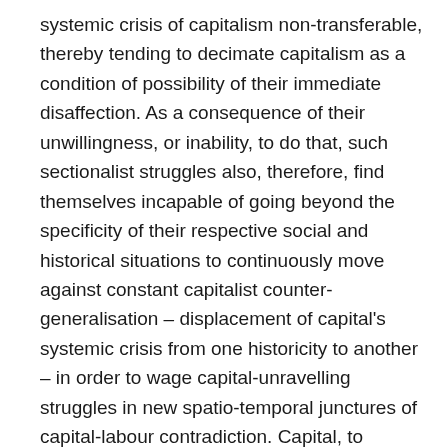systemic crisis of capitalism non-transferable, thereby tending to decimate capitalism as a condition of possibility of their immediate disaffection. As a consequence of their unwillingness, or inability, to do that, such sectionalist struggles also, therefore, find themselves incapable of going beyond the specificity of their respective social and historical situations to continuously move against constant capitalist counter-generalisation – displacement of capital's systemic crisis from one historicity to another – in order to wage capital-unravelling struggles in new spatio-temporal junctures of capital-labour contradiction. Capital, to reiterate an earlier point, is systemically programmed to keep producing such new space-times of contradiction by way of displacing its crisis in order to survive and reproduce itself. Clearly, capital envisages its crisis as a barrier to be broken or overcome while labour must re-